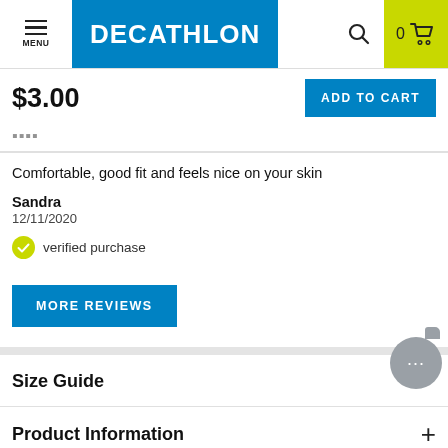MENU | DECATHLON | 0 (cart)
$3.00
ADD TO CART
Comfortable, good fit and feels nice on your skin
Sandra
12/11/2020
verified purchase
MORE REVIEWS
Size Guide
Product Information